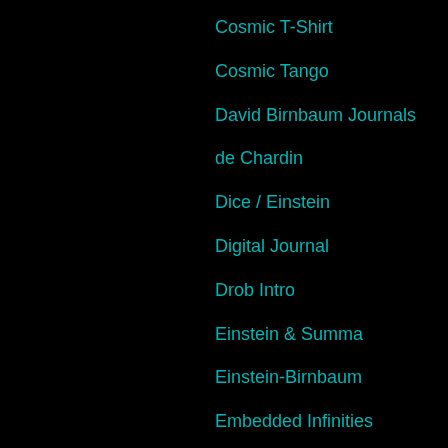Cosmic T-Shirt
Cosmic Tango
David Birnbaum Journals
de Chardin
Dice / Einstein
Digital Journal
Drob Intro
Einstein & Summa
Einstein-Birnbaum
Embedded Infinities